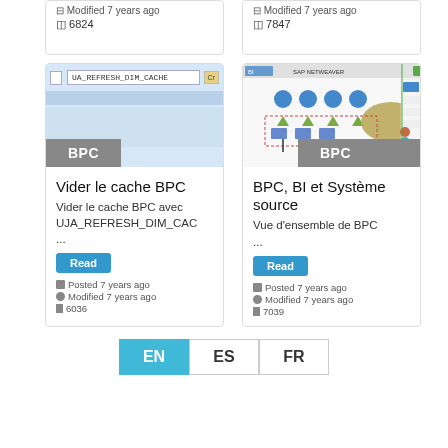Modified 7 years ago
6824
Modified 7 years ago
7847
[Figure (screenshot): Screenshot of BPC application showing UJA_REFRESH_DIM_CACHE input field with BPC badge]
[Figure (screenshot): SAP NetWeaver/BPC system architecture diagram with BPC badge]
Vider le cache BPC
BPC, BI et Système source
Vider le cache BPC avec UJA_REFRESH_DIM_CAC ...
Vue d'ensemble de BPC ...
Read
Read
Posted 7 years ago
Modified 7 years ago
6036
Posted 7 years ago
Modified 7 years ago
7039
EN
ES
FR